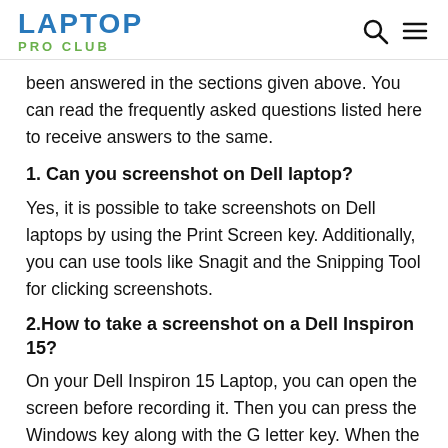LAPTOP PRO CLUB
been answered in the sections given above. You can read the frequently asked questions listed here to receive answers to the same.
1. Can you screenshot on Dell laptop?
Yes, it is possible to take screenshots on Dell laptops by using the Print Screen key. Additionally, you can use tools like Snagit and the Snipping Tool for clicking screenshots.
2.How to take a screenshot on a Dell Inspiron 15?
On your Dell Inspiron 15 Laptop, you can open the screen before recording it. Then you can press the Windows key along with the G letter key. When the Gamebar opens, you